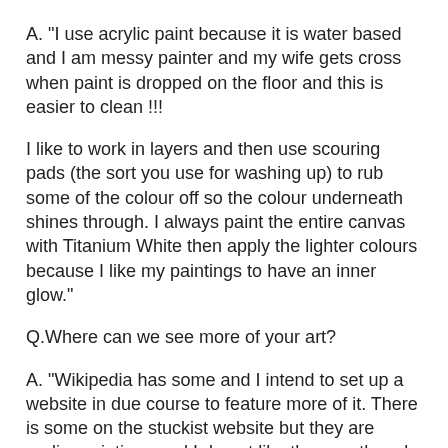A. "I use acrylic paint because it is water based and I am messy painter and my wife gets cross when paint is dropped on the floor and this is easier to clean !!!
I like to work in layers and then use scouring pads (the sort you use for washing up) to rub some of the colour off so the colour underneath shines through. I always paint the entire canvas with Titanium White then apply the lighter colours because I like my paintings to have an inner glow."
Q.Where can we see more of your art?
A. "Wikipedia has some and I intend to set up a website in due course to feature more of it. There is some on the stuckist website but they are earlier paintings and I do not like them as they do not represent what I am doing now."
Q. Are you represented by a gallery? Do you have any upcoming exhibits?
A. "I am not represented by a gallery and there is nothing in the pipeline.... but I am open to offers !! There is a possible